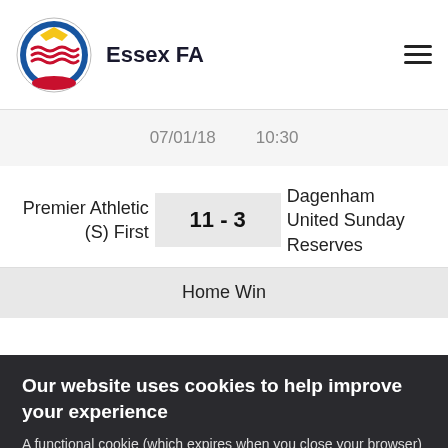Essex FA
07/01/18   10:30
Premier Athletic (S) First   11 - 3   Dagenham United Sunday Reserves
Home Win
Our website uses cookies to help improve your experience
A functional cookie (which expires when you close your browser) has already been placed on your machine. More details
ACCEPT COOKIES
ECFA Support